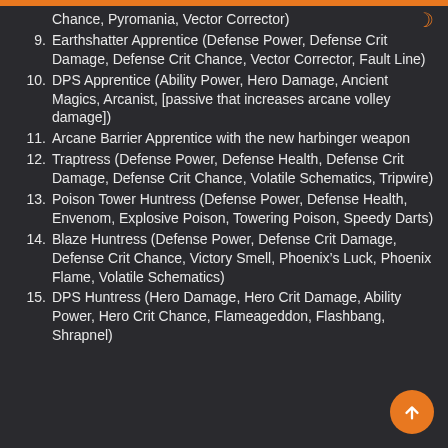Chance, Pyromania, Vector Corrector)
9. Earthshatter Apprentice (Defense Power, Defense Crit Damage, Defense Crit Chance, Vector Corrector, Fault Line)
10. DPS Apprentice (Ability Power, Hero Damage, Ancient Magics, Arcanist, [passive that increases arcane volley damage])
11. Arcane Barrier Apprentice with the new harbinger weapon
12. Traptress (Defense Power, Defense Health, Defense Crit Damage, Defense Crit Chance, Volatile Schematics, Tripwire)
13. Poison Tower Huntress (Defense Power, Defense Health, Envenom, Explosive Poison, Towering Poison, Speedy Darts)
14. Blaze Huntress (Defense Power, Defense Crit Damage, Defense Crit Chance, Victory Smell, Phoenix’s Luck, Phoenix Flame, Volatile Schematics)
15. DPS Huntress (Hero Damage, Hero Crit Damage, Ability Power, Hero Crit Chance, Flameageddon, Flashbang, Shrapnel)